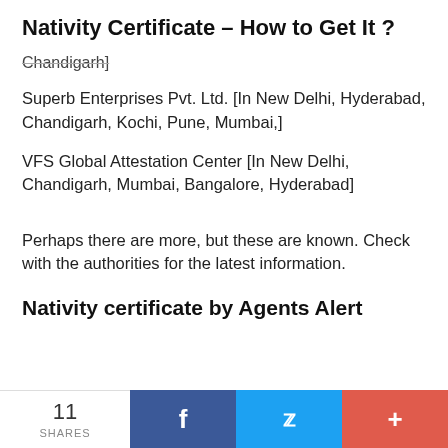Nativity Certificate – How to Get It ?
Chandigarh]
Superb Enterprises Pvt. Ltd. [In New Delhi, Hyderabad, Chandigarh, Kochi, Pune, Mumbai,]
VFS Global Attestation Center [In New Delhi, Chandigarh, Mumbai, Bangalore, Hyderabad]
Perhaps there are more, but these are known. Check with the authorities for the latest information.
Nativity certificate by Agents Alert
11 SHARES  f  (Twitter)  +